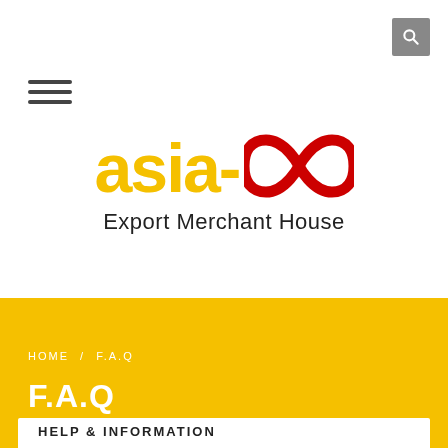[Figure (logo): Asia-GO Export Merchant House logo with yellow 'asia-' text, red infinity symbol, and subtitle 'Export Merchant House']
HOME / F.A.Q
F.A.Q
HELP & INFORMATION